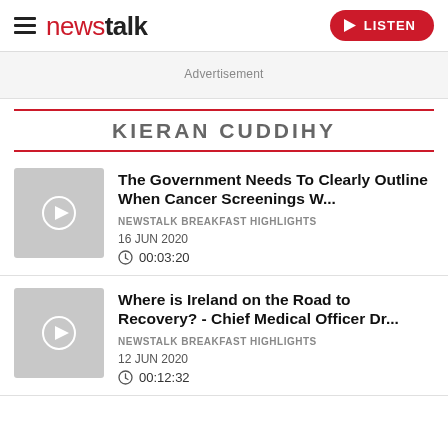newstalk — LISTEN
Advertisement
KIERAN CUDDIHY
The Government Needs To Clearly Outline When Cancer Screenings W...
NEWSTALK BREAKFAST HIGHLIGHTS
16 JUN 2020
00:03:20
Where is Ireland on the Road to Recovery? - Chief Medical Officer Dr...
NEWSTALK BREAKFAST HIGHLIGHTS
12 JUN 2020
00:12:32